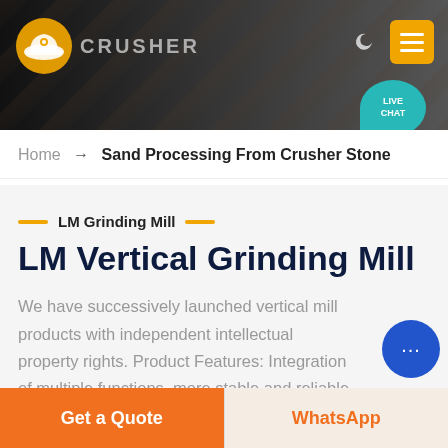[Figure (screenshot): Website header banner with dark background showing mining/crusher imagery, company logo on left, moon icon and orange menu button on right. Live chat teal speech bubble overlay at bottom right of header.]
Home → Sand Processing From Crusher Stone
LM Grinding Mill
LM Vertical Grinding Mill
We have successively launched vertical mill products with independent intellectual property rights. Product Features: Integration of multiple functions, more stable and reliable production and more excellent capacity
Get a Quote
WhatsApp